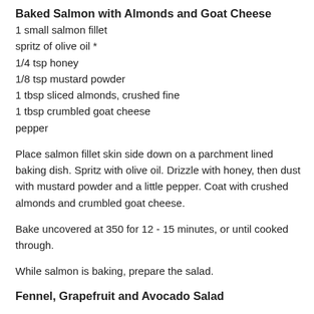Baked Salmon with Almonds and Goat Cheese
1 small salmon fillet
spritz of olive oil *
1/4 tsp honey
1/8 tsp mustard powder
1 tbsp sliced almonds, crushed fine
1 tbsp crumbled goat cheese
pepper
Place salmon fillet skin side down on a parchment lined baking dish. Spritz with olive oil. Drizzle with honey, then dust with mustard powder and a little pepper. Coat with crushed almonds and crumbled goat cheese.
Bake uncovered at 350 for 12 - 15 minutes, or until cooked through.
While salmon is baking, prepare the salad.
Fennel, Grapefruit and Avocado Salad